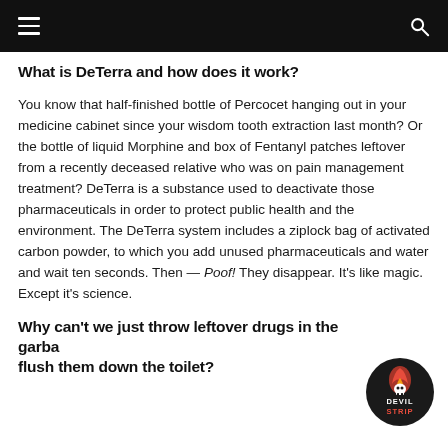[Navigation bar with hamburger menu and search icon]
What is DeTerra and how does it work?
You know that half-finished bottle of Percocet hanging out in your medicine cabinet since your wisdom tooth extraction last month? Or the bottle of liquid Morphine and box of Fentanyl patches leftover from a recently deceased relative who was on pain management treatment? DeTerra is a substance used to deactivate those pharmaceuticals in order to protect public health and the environment. The DeTerra system includes a ziplock bag of activated carbon powder, to which you add unused pharmaceuticals and water and wait ten seconds. Then — Poof! They disappear. It's like magic. Except it's science.
Why can't we just throw leftover drugs in the garbage or flush them down the toilet?
[Figure (logo): Devil Strip circular logo badge — flame/skull icon above text reading DEVIL STRIP on dark background]